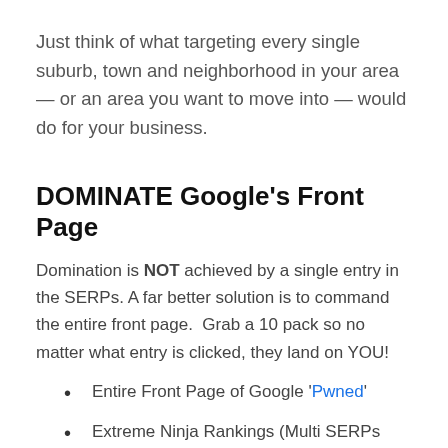Just think of what targeting every single suburb, town and neighborhood in your area — or an area you want to move into — would do for your business.
DOMINATE Google's Front Page
Domination is NOT achieved by a single entry in the SERPs. A far better solution is to command the entire front page.  Grab a 10 pack so no matter what entry is clicked, they land on YOU!
Entire Front Page of Google 'Pwned'
Extreme Ninja Rankings (Multi SERPs entries)